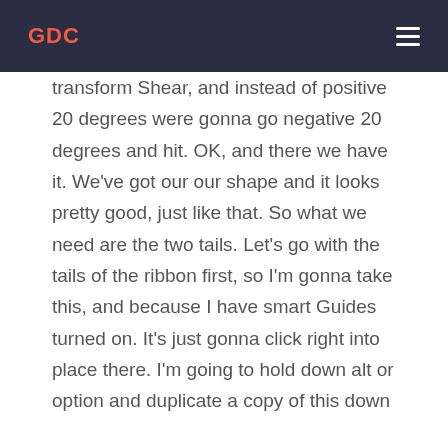GDC
transform Shear, and instead of positive 20 degrees were gonna go negative 20 degrees and hit. OK, and there we have it. We've got our our shape and it looks pretty good, just like that. So what we need are the two tails. Let's go with the tails of the ribbon first, so I'm gonna take this, and because I have smart Guides turned on. It's just gonna click right into place there. I'm going to hold down alt or option and duplicate a copy of this down